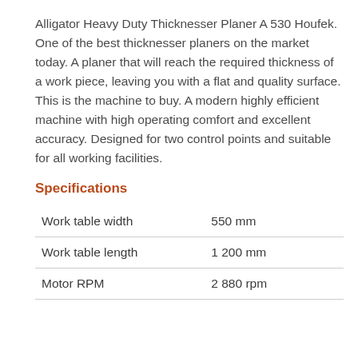Alligator Heavy Duty Thicknesser Planer A 530 Houfek. One of the best thicknesser planers on the market today. A planer that will reach the required thickness of a work piece, leaving you with a flat and quality surface. This is the machine to buy. A modern highly efficient machine with high operating comfort and excellent accuracy. Designed for two control points and suitable for all working facilities.
Specifications
| Work table width | 550 mm |
| Work table length | 1 200 mm |
| Motor RPM | 2 880 rpm |